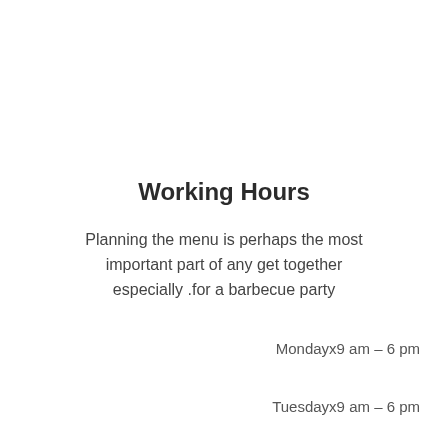Working Hours
Planning the menu is perhaps the most important part of any get together especially .for a barbecue party
Mondayx9 am – 6 pm
Tuesdayx9 am – 6 pm